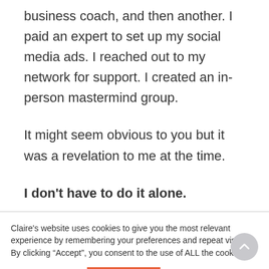business coach, and then another. I paid an expert to set up my social media ads. I reached out to my network for support. I created an in-person mastermind group.
It might seem obvious to you but it was a revelation to me at the time.
I don't have to do it alone.
Claire's website uses cookies to give you the most relevant experience by remembering your preferences and repeat visits. By clicking “Accept”, you consent to the use of ALL the cookies.
Cookie settings
ACCEPT